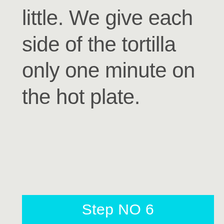little. We give each side of the tortilla only one minute on the hot plate.
Step NO 6